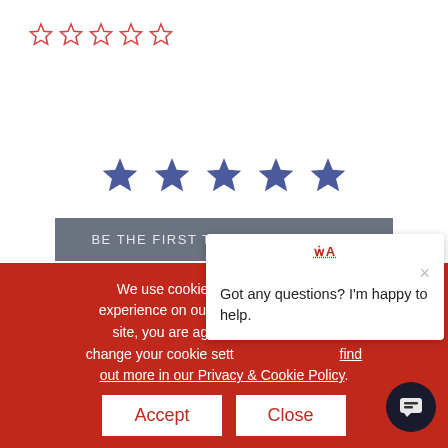[Figure (other): Five empty red outline star rating icons in the top left corner]
[Figure (other): Five filled blue star icons centered on the page]
BE THE FIRST TO WRITE A REVIEW
We use cookies to ensure the best experience on our website. By using this site, you are agreeing to our use. To change your cookie settings at any time, find out more in our Privacy & Cookie Policy.
Got any questions? I'm happy to help.
Accept
Close